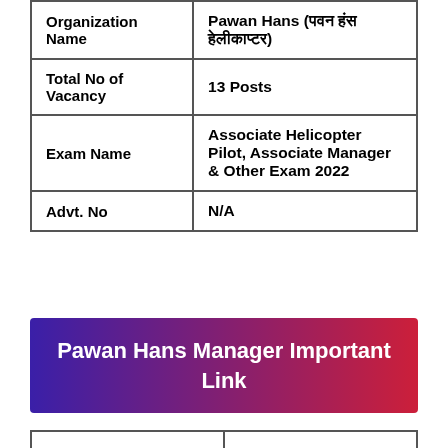| Field | Value |
| --- | --- |
| Organization Name | Pawan Hans (पवन हंस हेलीकाप्टर) |
| Total No of Vacancy | 13 Posts |
| Exam Name | Associate Helicopter Pilot, Associate Manager & Other Exam 2022 |
| Advt. No | N/A |
Pawan Hans Manager Important Link